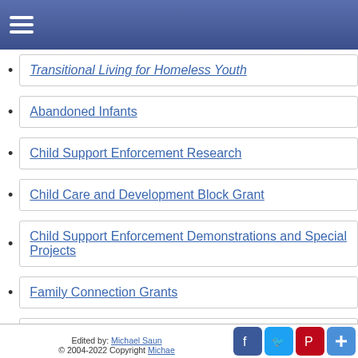Menu
Transitional Living for Homeless Youth
Abandoned Infants
Child Support Enforcement Research
Child Care and Development Block Grant
Child Support Enforcement Demonstrations and Special Projects
Family Connection Grants
Adoption Opportunities
Edited by: Michael Saun | © 2004-2022 Copyright Michae